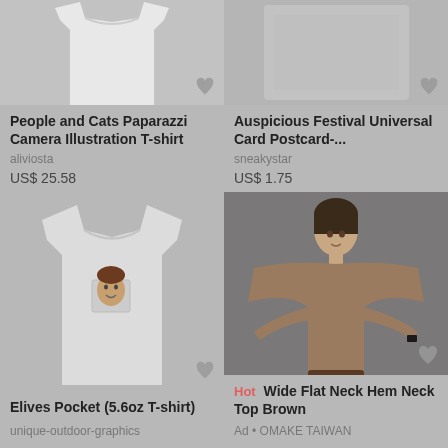[Figure (photo): White t-shirt product photo, top portion cropped]
People and Cats Paparazzi Camera Illustration T-shirt
aliviosta
US$ 25.58
[Figure (photo): Postcard product photo, top portion cropped]
Auspicious Festival Universal Card Postcard-...
sneakystar
US$ 1.75
[Figure (photo): White pocket t-shirt with face graphic on pocket]
Elives Pocket (5.6oz T-shirt)
unique-outdoor-graphics
[Figure (photo): Model wearing wide flat neck hem neck top in brown, with white skirt]
Hot Wide Flat Neck Hem Neck Top Brown
Ad • OMAKE TAIWAN